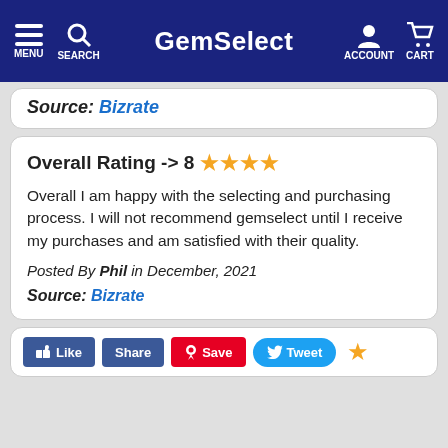GemSelect — MENU, SEARCH, ACCOUNT, CART navigation bar
Source: Bizrate
Overall Rating -> 8 ★★★★

Overall I am happy with the selecting and purchasing process. I will not recommend gemselect until I receive my purchases and am satisfied with their quality.

Posted By Phil in December, 2021

Source: Bizrate
[Figure (screenshot): Social sharing buttons: Like (Facebook), Share (Facebook), Save (Pinterest), Tweet (Twitter), and a gold star icon]
Like  Share  Save  Tweet